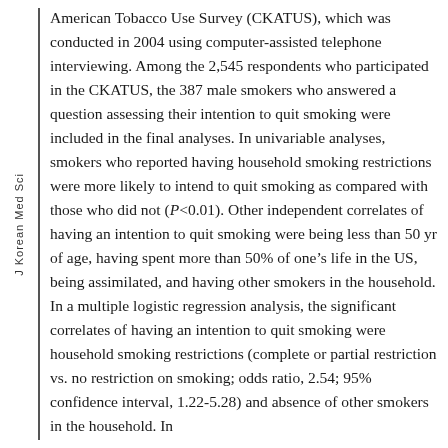American Tobacco Use Survey (CKATUS), which was conducted in 2004 using computer-assisted telephone interviewing. Among the 2,545 respondents who participated in the CKATUS, the 387 male smokers who answered a question assessing their intention to quit smoking were included in the final analyses. In univariable analyses, smokers who reported having household smoking restrictions were more likely to intend to quit smoking as compared with those who did not (P<0.01). Other independent correlates of having an intention to quit smoking were being less than 50 yr of age, having spent more than 50% of one's life in the US, being assimilated, and having other smokers in the household. In a multiple logistic regression analysis, the significant correlates of having an intention to quit smoking were household smoking restrictions (complete or partial restriction vs. no restriction on smoking; odds ratio, 2.54; 95% confidence interval, 1.22-5.28) and absence of other smokers in the household. In
J Korean Med Sci